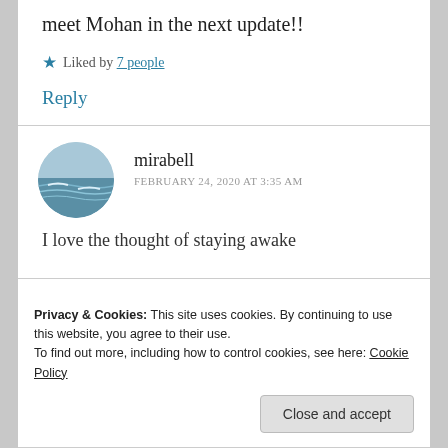meet Mohan in the next update!!
Liked by 7 people
Reply
mirabell
FEBRUARY 24, 2020 AT 3:35 AM
I love the thought of staying awake
Privacy & Cookies: This site uses cookies. By continuing to use this website, you agree to their use.
To find out more, including how to control cookies, see here: Cookie Policy
Close and accept